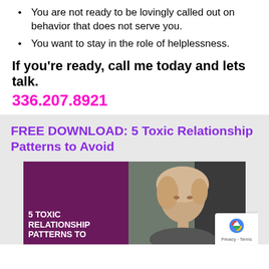You are not ready to be lovingly called out on behavior that does not serve you.
You want to stay in the role of helplessness.
If you're ready, call me today and lets talk.
336.207.8921
FREE DOWNLOAD: 5 Toxic Relationship Patterns to Avoid
[Figure (photo): Book cover showing '5 TOXIC RELATIONSHIP PATTERNS TO' in white text on dark purple background, next to a photo of a blonde curly-haired woman looking upward, with a reCAPTCHA badge in the bottom right corner.]